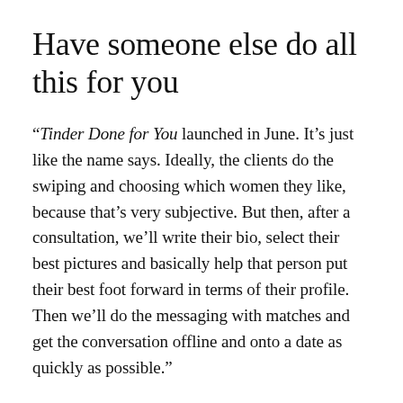Have someone else do all this for you
“Tinder Done for You launched in June. It’s just like the name says. Ideally, the clients do the swiping and choosing which women they like, because that’s very subjective. But then, after a consultation, we’ll write their bio, select their best pictures and basically help that person put their best foot forward in terms of their profile. Then we’ll do the messaging with matches and get the conversation offline and onto a date as quickly as possible.”
Have extremely white teeth